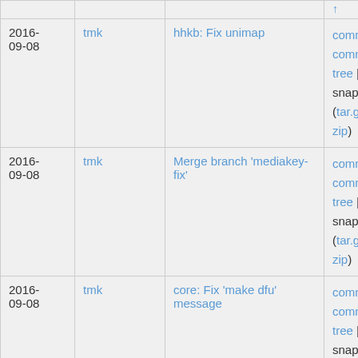| Date | Author | Message | Links |
| --- | --- | --- | --- |
| 2016-09-08 | tmk | hhkb: Fix unimap | commit | commitdiff | tree | snapshot (tar.gz tar.bz2 zip) |
| 2016-09-08 | tmk | Merge branch 'mediakey-fix' | commit | commitdiff | tree | snapshot (tar.gz tar.bz2 zip) |
| 2016-09-08 | tmk | core: Fix 'make dfu' message | commit | commitdiff | tree | snapshot (tar.gz tar.bz2 zip) |
| 2016-09-08 | Travis La Marr | Fix OS X Recognizing keyboard as Mouse/Tablet | commit | commitdiff | tree | snapshot |